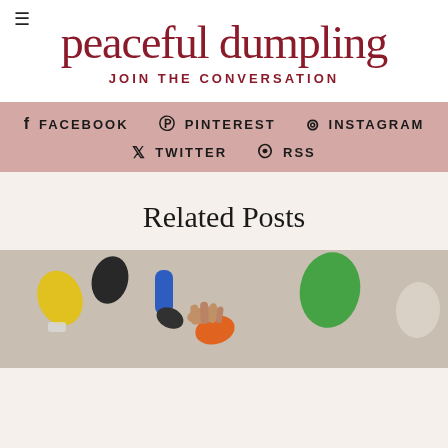peaceful dumpling JOIN THE CONVERSATION
FACEBOOK  PINTEREST  INSTAGRAM  TWITTER  RSS
Related Posts
[Figure (photo): A rock climbing wall with colorful climbing holds and a person's hands visible, taken from above]